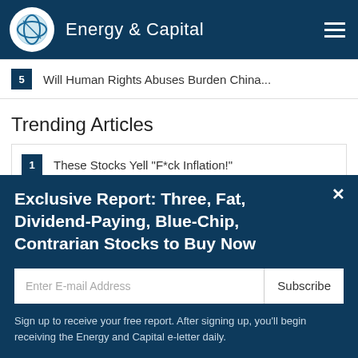Energy & Capital
5  Will Human Rights Abuses Burden China...
Trending Articles
1  These Stocks Yell "F*ck Inflation!"
2  The U.S. Is Suffering From "China...
Exclusive Report: Three, Fat, Dividend-Paying, Blue-Chip, Contrarian Stocks to Buy Now
Enter E-mail Address
Subscribe
Sign up to receive your free report. After signing up, you'll begin receiving the Energy and Capital e-letter daily.